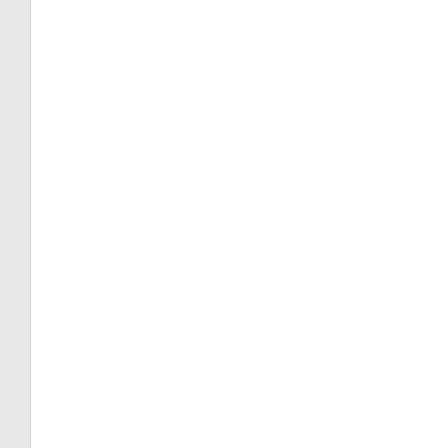Hounslow...
Sweat cardigan... washable.
Girls Twin Neck Blou...
Poly/cotton - N... REFUND/EXC... or exchange wh... packaging distu... assistance on s...
Girls Twin Neck Blou...
Poly/cotton - N... REFUND/EXC... or exchange wh... packaging distu... assistance on s...